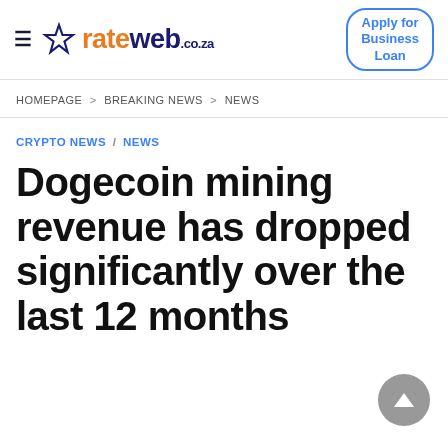rateweb.co.za | Apply for Business Loan
HOMEPAGE > BREAKING NEWS > NEWS
CRYPTO NEWS / NEWS
Dogecoin mining revenue has dropped significantly over the last 12 months